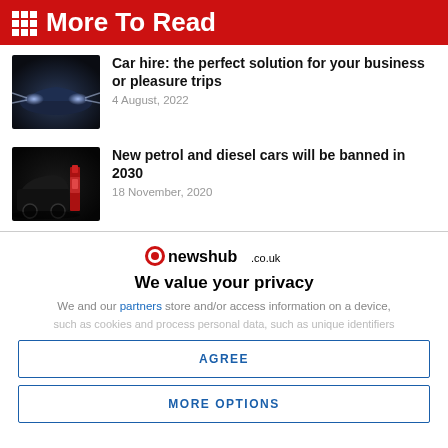More To Read
[Figure (photo): Dark blue car with headlights on, Mercedes-style vehicle]
Car hire: the perfect solution for your business or pleasure trips
4 August, 2022
[Figure (photo): Car at a petrol station at night]
New petrol and diesel cars will be banned in 2030
18 November, 2020
[Figure (logo): newshub.co.uk logo with circular red icon]
We value your privacy
We and our partners store and/or access information on a device,
such as cookies and process personal data, such as unique identifiers
AGREE
MORE OPTIONS